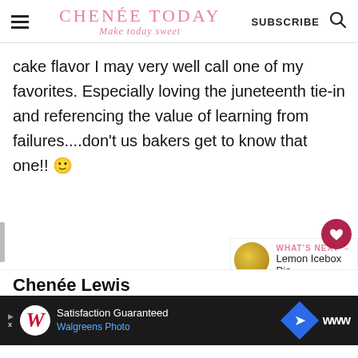CHENÉE TODAY Make today sweet | SUBSCRIBE
cake flavor I may very well call one of my favorites. Especially loving the juneteenth tie-in and referencing the value of learning from failures....don't us bakers get to know that one!! 🙂
REPLY
WHAT'S NEXT → Lemon Icebox Pie
Chenée Lewis
Satisfaction Guaranteed Walgreens Photo